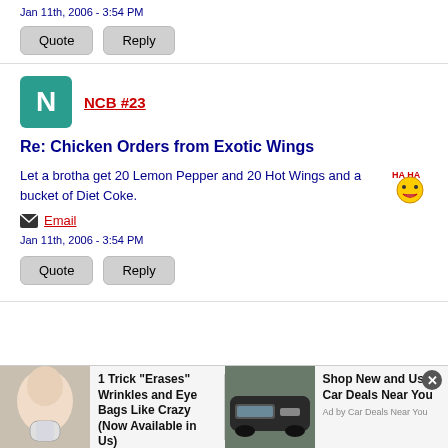Jan 11th, 2006 - 3:54 PM
Quote   Reply
NCB #23
Re: Chicken Orders from Exotic Wings
Let a brotha get 20 Lemon Pepper and 20 Hot Wings and a bucket of Diet Coke.
Email
Jan 11th, 2006 - 3:54 PM
Quote   Reply
[Figure (infographic): Advertisement banner with two ad items: one for wrinkle cream and one for car deals]